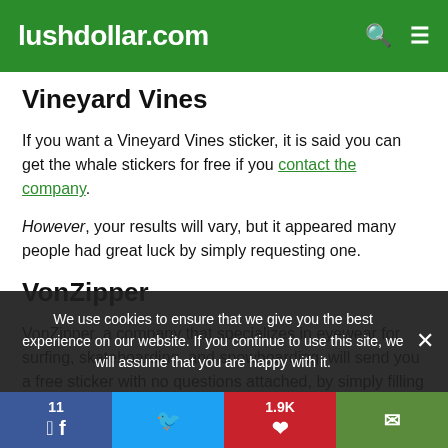lushdollar.com
Vineyard Vines
If you want a Vineyard Vines sticker, it is said you can get the whale stickers for free if you contact the company.
However, your results will vary, but it appeared many people had great luck by simply requesting one.
VonZipper
VonZipper, a company that specializes in eyewear for surfing, skateboarding, and snowboarding, will send you a free sticker with no questions attached, by simply filling out the…
We use cookies to ensure that we give you the best experience on our website. If you continue to use this site, we will assume that you are happy with it.